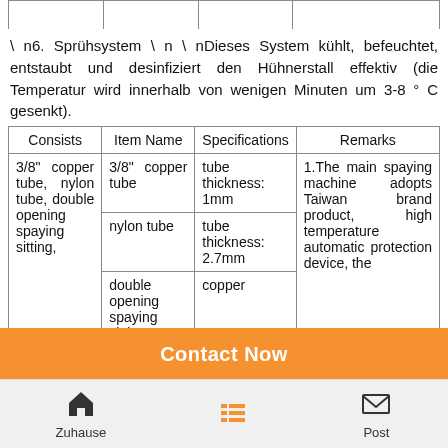\ n6. Sprühsystem \ n \ nDieses System kühlt, befeuchtet, entstaubt und desinfiziert den Hühnerstall effektiv (die Temperatur wird innerhalb von wenigen Minuten um 3-8 ° C gesenkt).
| Consists | Item Name | Specifications | Remarks |
| --- | --- | --- | --- |
| 3/8" copper tube, nylon tube, double opening spaying sitting, | 3/8" copper tube | tube thickness: 1mm | 1.The main spaying machine adopts Taiwan brand product, high temperature automatic protection device, the |
|  | nylon tube | tube thickness: 2.7mm |  |
|  | double opening spaying sitting | copper |  |
|  | copper spaying | 3/8", 25-30mm |  |
Contact Now
Zuhause    Post